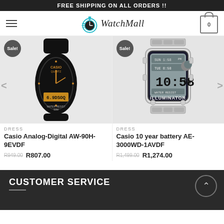FREE SHIPPING ON ALL ORDERS !!
[Figure (logo): WatchMall logo with stopwatch icon and cart icon showing 0]
[Figure (photo): Casio Analog-Digital AW-90H-9EVDF watch on sale, black face with gold accents]
[Figure (photo): Casio 10 year battery AE-3000WD-1AVDF watch on sale, digital illuminator watch with silver bracelet]
DRESS
Casio Analog-Digital AW-90H-9EVDF
R949.00  R807.00
DRESS
Casio 10 year battery AE-3000WD-1AVDF
R1,499.00  R1,274.00
CUSTOMER SERVICE